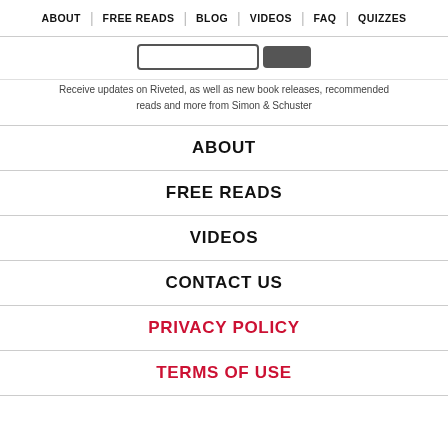ABOUT | FREE READS | BLOG | VIDEOS | FAQ | QUIZZES
[Figure (screenshot): Partial email signup form with input field and submit button]
Receive updates on Riveted, as well as new book releases, recommended reads and more from Simon & Schuster
ABOUT
FREE READS
VIDEOS
CONTACT US
PRIVACY POLICY
TERMS OF USE